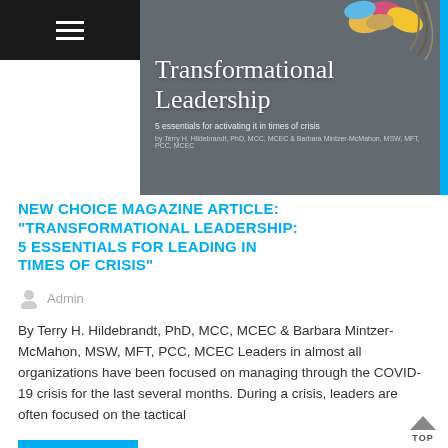[Figure (illustration): Magazine article cover image with dark gray textured background showing colorful decorative elements at top. White serif text reads 'Transformational Leadership' with subtitle '5 essentials for activating it in times of crisis' and author byline.]
NEW CHOICE MAGAZINE ARTICLE: "TRANSFORMATIONAL LEADERSHIP: 5 ESSENTIALS FOR LEADING IN TIMES OF CRISIS"
Admin
By Terry H. Hildebrandt, PhD, MCC, MCEC & Barbara Mintzer-McMahon, MSW, MFT, PCC, MCEC Leaders in almost all organizations have been focused on managing through the COVID-19 crisis for the last several months. During a crisis, leaders are often focused on the tactical